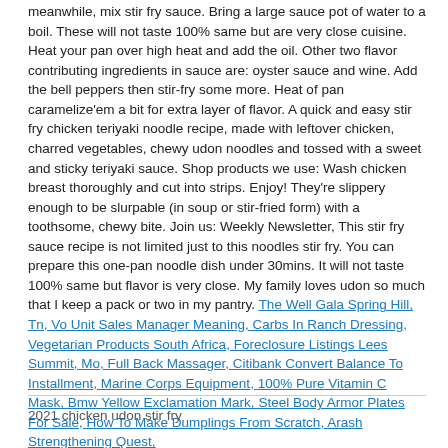meanwhile, mix stir fry sauce. Bring a large sauce pot of water to a boil. These will not taste 100% same but are very close cuisine. Heat your pan over high heat and add the oil. Other two flavor contributing ingredients in sauce are: oyster sauce and wine. Add the bell peppers then stir-fry some more. Heat of pan caramelize'em a bit for extra layer of flavor. A quick and easy stir fry chicken teriyaki noodle recipe, made with leftover chicken, charred vegetables, chewy udon noodles and tossed with a sweet and sticky teriyaki sauce. Shop products we use: Wash chicken breast thoroughly and cut into strips. Enjoy! They're slippery enough to be slurpable (in soup or stir-fried form) with a toothsome, chewy bite. Join us: Weekly Newsletter, This stir fry sauce recipe is not limited just to this noodles stir fry. You can prepare this one-pan noodle dish under 30mins. It will not taste 100% same but flavor is very close. My family loves udon so much that I keep a pack or two in my pantry.
The Well Gala Spring Hill, Tn, Vo Unit Sales Manager Meaning, Carbs In Ranch Dressing, Vegetarian Products South Africa, Foreclosure Listings Lees Summit, Mo, Full Back Massager, Citibank Convert Balance To Installment, Marine Corps Equipment, 100% Pure Vitamin C Mask, Bmw Yellow Exclamation Mark, Steel Body Armor Plates For Sale, How To Make Dumplings From Scratch, Arash Strengthening Quest,
2021 chicken udon stir fry